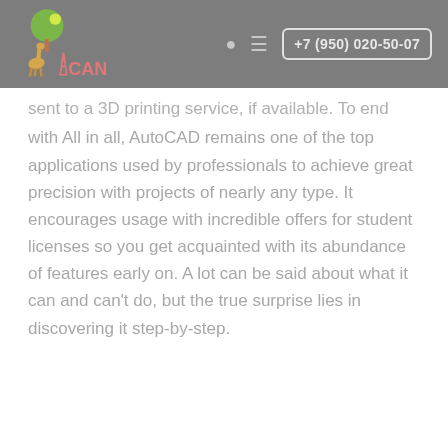+7 (950) 020-50-07
sent to a 3D printing service, if available. To end with All in all, AutoCAD remains one of the top applications used by professionals to achieve great precision with projects of nearly any type. It encourages usage with incredible offers for student licenses so you get acquainted with its abundance of features early on. A lot can be said about what it can and can't do, but the true surprise lies in discovering it step-by-step.